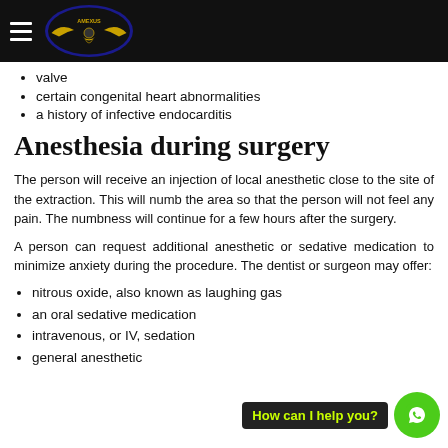AMEXUS
valve
certain congenital heart abnormalities
a history of infective endocarditis
Anesthesia during surgery
The person will receive an injection of local anesthetic close to the site of the extraction. This will numb the area so that the person will not feel any pain. The numbness will continue for a few hours after the surgery.
A person can request additional anesthetic or sedative medication to minimize anxiety during the procedure. The dentist or surgeon may offer:
nitrous oxide, also known as laughing gas
an oral sedative medication
intravenous, or IV, sedation
general anesthetic